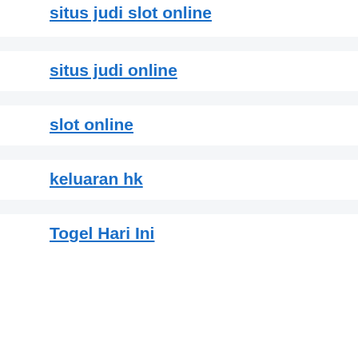situs judi slot online
situs judi online
slot online
keluaran hk
Togel Hari Ini